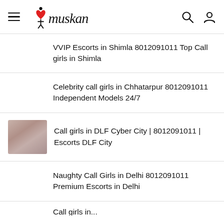Muskan
VVIP Escorts in Shimla 8012091011 Top Call girls in Shimla
Celebrity call girls in Chhatarpur 8012091011 Independent Models 24/7
Call girls in DLF Cyber City | 8012091011 | Escorts DLF City
Naughty Call Girls in Delhi 8012091011 Premium Escorts in Delhi
Call girls in... (partial)